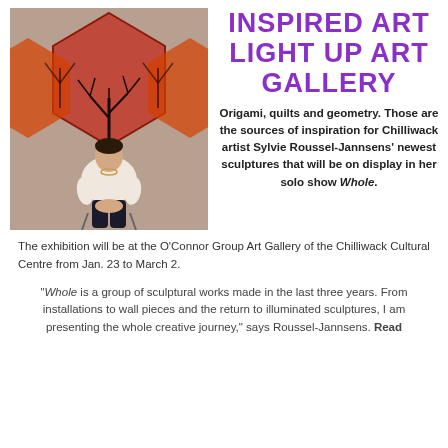INSPIRED ART LIGHT UP ART GALLERY
[Figure (photo): Woman seated on a chair in front of large orange and red decorative quilt/textile artwork with tree motifs. She is wearing a light top and dark pants.]
Origami, quilts and geometry. Those are the sources of inspiration for Chilliwack artist Sylvie Roussel-Jannsens' newest sculptures that will be on display in her solo show Whole.
The exhibition will be at the O'Connor Group Art Gallery of the Chilliwack Cultural Centre from Jan. 23 to March 2.
“Whole is a group of sculptural works made in the last three years. From installations to wall pieces and the return to illuminated sculptures, I am presenting the whole creative journey,” says Roussel-Jannsens. Read